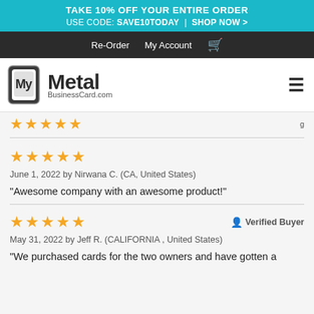TAKE 10% OFF YOUR ENTIRE ORDER USE CODE: SAVE10TODAY | SHOP NOW >
Re-Order  My Account  [cart]
[Figure (logo): MyMetal BusinessCard.com logo with stylized card icon]
★★★★★ [partial, cut off at top]
★★★★★
June 1, 2022 by Nirwana C. (CA, United States)
“Awesome company with an awesome product!”
★★★★★  Verified Buyer
May 31, 2022 by Jeff R. (CALIFORNIA , United States)
“We purchased cards for the two owners and have gotten a